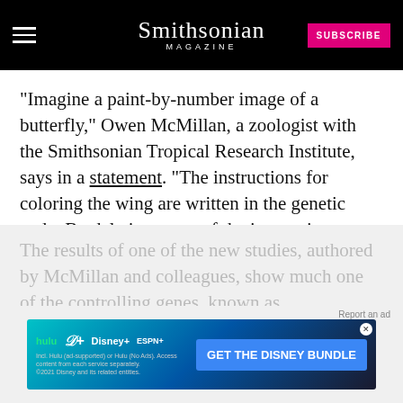Smithsonian MAGAZINE — SUBSCRIBE
"Imagine a paint-by-number image of a butterfly," Owen McMillan, a zoologist with the Smithsonian Tropical Research Institute, says in a statement. "The instructions for coloring the wing are written in the genetic code. By deleting some of the instructions, we can infer which part says 'paint the number twos red' or 'paint the number ones black.'"
The results of one of the new studies, authored by McMillan and colleagues, show much one of the controlling genes, known as
[Figure (screenshot): Disney Bundle advertisement banner featuring Hulu, Disney+, ESPN+ logos with 'GET THE DISNEY BUNDLE' call-to-action button]